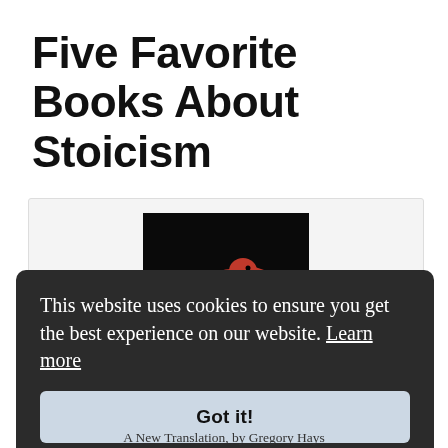Five Favorite Books About Stoicism
[Figure (photo): Book cover showing a red bird (crow/raven) on a black background — cover of Meditations by Marcus Aurelius, A New Translation by Gregory Hays]
A New Translation, by Gregory Hays
This website uses cookies to ensure you get the best experience on our website. Learn more
Got it!